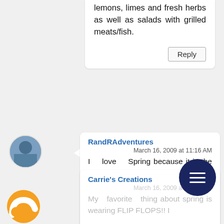lemons, limes and fresh herbs as well as salads with grilled meats/fish.
Reply
[Figure (photo): User avatar photo showing a person outdoors]
RandRAdventures
March 16, 2009 at 11:16 AM
I love Spring because it is the bicycle racing season, so my husband and I go on lots of little weekend getaways to beautiful places for the races.
Reply
[Figure (photo): Carrie's Creations avatar - orange blogger icon]
Carrie's Creations
March 16, 2009 at 11:16 AM
My favorite thing about spring is wearing FLIP FLOPS!! I